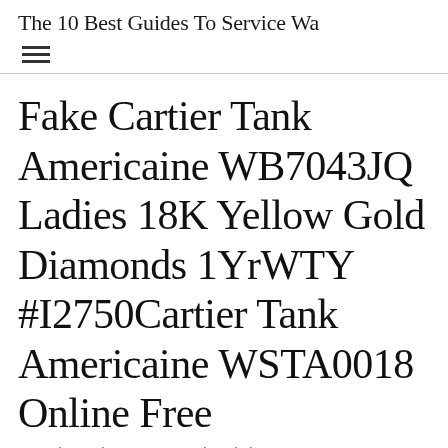The 10 Best Guides To Service Wa
Fake Cartier Tank Americaine WB7043JQ Ladies 18K Yellow Gold Diamonds 1YrWTY #I2750Cartier Tank Americaine WSTA0018 Online Free
Posted on February 22, 2022 by admin